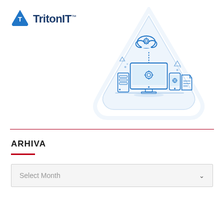[Figure (logo): TritonIT logo with blue hexagonal T icon and bold dark blue text 'TritonIT' with trademark symbol]
[Figure (illustration): IT cloud services illustration inside a rounded triangle shape: cloud with gear icon at top, desktop monitor with gear, server tower, tablet with gear, and document icon. Colors are light blue outlines on white/light blue background.]
ARHIVA
Select Month